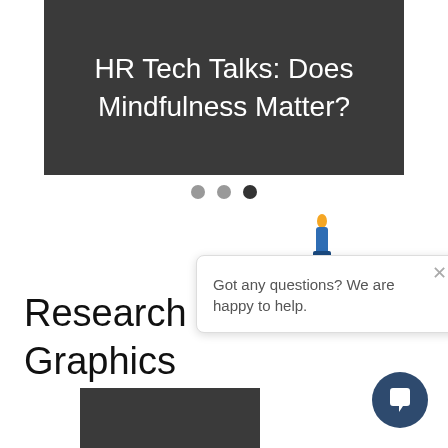HR Tech Talks: Does Mindfulness Matter?
[Figure (other): Carousel navigation dots, three dots with the third one active/dark]
Research Re Graphics
[Figure (screenshot): Chat popup widget with avatar icon and message 'Got any questions? We are happy to help.' with a close button and a circular chat button in the bottom right]
[Figure (other): Dark grey thumbnail image at the bottom of the page]